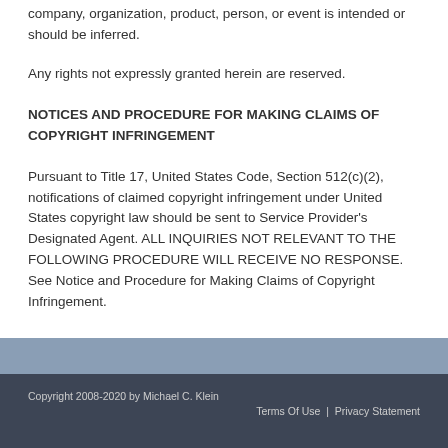company, organization, product, person, or event is intended or should be inferred.
Any rights not expressly granted herein are reserved.
NOTICES AND PROCEDURE FOR MAKING CLAIMS OF COPYRIGHT INFRINGEMENT
Pursuant to Title 17, United States Code, Section 512(c)(2), notifications of claimed copyright infringement under United States copyright law should be sent to Service Provider's Designated Agent. ALL INQUIRIES NOT RELEVANT TO THE FOLLOWING PROCEDURE WILL RECEIVE NO RESPONSE. See Notice and Procedure for Making Claims of Copyright Infringement.
Copyright 2008-2020 by Michael C. Klein | Terms Of Use | Privacy Statement